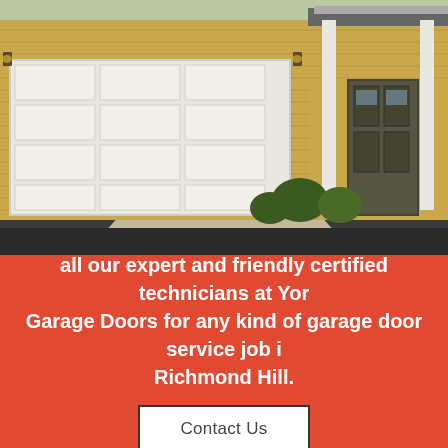[Figure (photo): Exterior photo of a suburban house with a white double garage door, yellow siding, a covered front porch with white columns, and green lawn. Dark driveway in the foreground.]
all our expert and friendly certified technicians at Yor Garage Doors for any kind of garage door service job i Richmond Hill.
Contact Us